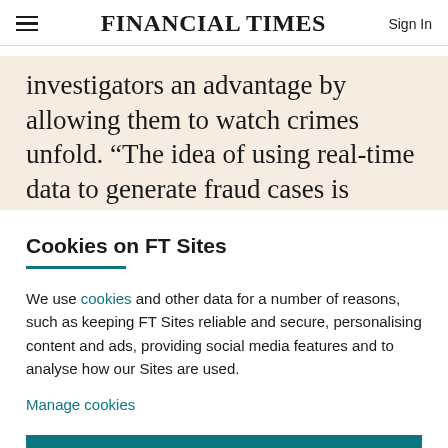FINANCIAL TIMES
investigators an advantage by allowing them to watch crimes unfold. “The idea of using real-time data to generate fraud cases is unique,” she said. “We have the
Cookies on FT Sites
We use cookies and other data for a number of reasons, such as keeping FT Sites reliable and secure, personalising content and ads, providing social media features and to analyse how our Sites are used.
Manage cookies
Accept & continue